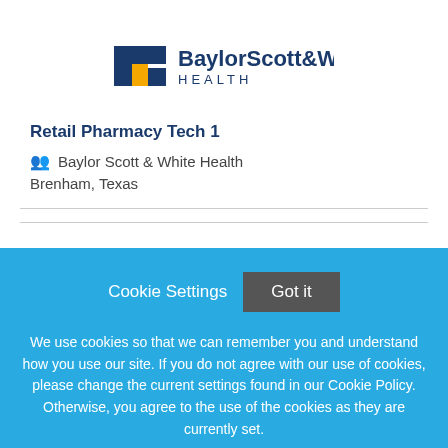[Figure (logo): Baylor Scott & White Health logo with blue and yellow cross symbol]
Retail Pharmacy Tech 1
Baylor Scott & White Health
Brenham, Texas
Cookie Settings  Got it
We use cookies so that we can remember you and understand how you use our site. If you do not agree with our use of cookies, please change the current settings found in our Cookie Policy. Otherwise, you agree to the use of the cookies as they are currently set.